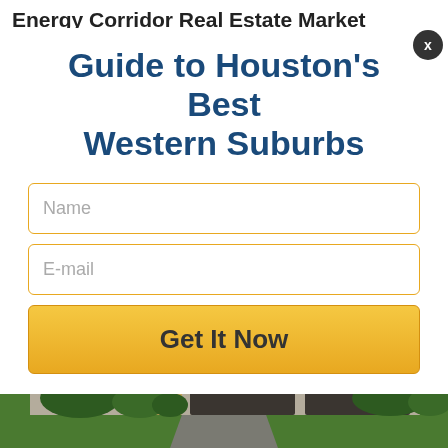Energy Corridor Real Estate Market
Guide to Houston's Best Western Suburbs
[Figure (screenshot): Modal dialog with two input fields (Name, E-mail) and a yellow 'Get It Now' button, overlaid on a webpage. A close button (X) appears in the top-right corner.]
[Figure (photo): Photograph of a suburban home exterior with brick facade, two dark garage doors, illuminated entrance, landscaping, and green lawn at dusk.]